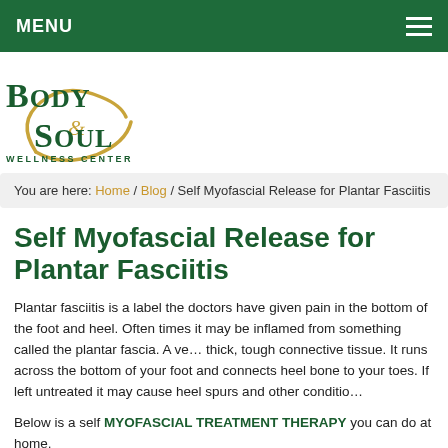MENU
[Figure (logo): Body & Soul Wellness Center logo with green serif text and gold ampersand/swoosh graphic]
You are here: Home / Blog / Self Myofascial Release for Plantar Fasciitis
Self Myofascial Release for Plantar Fasciitis
Plantar fasciitis is a label the doctors have given pain in the bottom of the foot and heel. Often times it may be inflamed from something called the plantar fascia. A very thick, tough connective tissue. It runs across the bottom of your foot and connects heel bone to your toes. If left untreated it may cause heel spurs and other conditions.
Below is a self MYOFASCIAL TREATMENT THERAPY you can do at home.